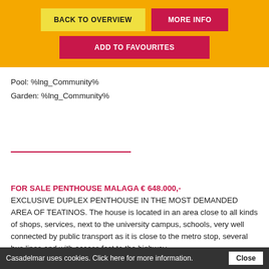BACK TO OVERVIEW | MORE INFO | ADD TO FAVOURITES
Pool: %lng_Community%
Garden: %lng_Community%
FOR SALE PENTHOUSE MALAGA € 648.000,-
EXCLUSIVE DUPLEX PENTHOUSE IN THE MOST DEMANDED AREA OF TEATINOS. The house is located in an area close to all kinds of shops, services, next to the university campus, schools, very well connected by public transport as it is close to the metro stop, several bus lines and with access fast to the highway.
Casadelmar uses cookies. Click here for more information. Close